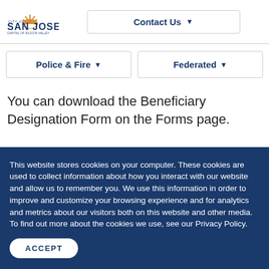[Figure (logo): City of San Jose logo with sun/rays icon and text 'SAN JOSE - CAPITAL OF SILICON VALLEY']
Contact Us ▾
Police & Fire ▾
Federated ▾
You can download the Beneficiary Designation Form on the Forms page.
This website stores cookies on your computer. These cookies are used to collect information about how you interact with our website and allow us to remember you. We use this information in order to improve and customize your browsing experience and for analytics and metrics about our visitors both on this website and other media. To find out more about the cookies we use, see our Privacy Policy.
ACCEPT